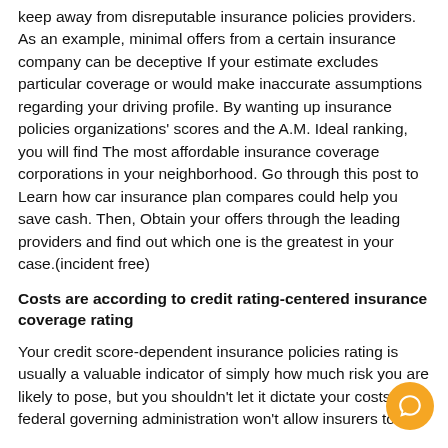keep away from disreputable insurance policies providers. As an example, minimal offers from a certain insurance company can be deceptive If your estimate excludes particular coverage or would make inaccurate assumptions regarding your driving profile. By wanting up insurance policies organizations' scores and the A.M. Ideal ranking, you will find The most affordable insurance coverage corporations in your neighborhood. Go through this post to Learn how car insurance plan compares could help you save cash. Then, Obtain your offers through the leading providers and find out which one is the greatest in your case.(incident free)
Costs are according to credit rating-centered insurance coverage rating
Your credit score-dependent insurance policies rating is usually a valuable indicator of simply how much risk you are likely to pose, but you shouldn't let it dictate your costs. The federal governing administration won't allow insurers to automatically discriminate based on your credit for